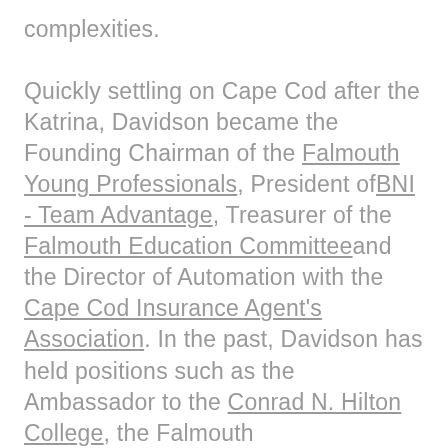complexities. Quickly settling on Cape Cod after the Katrina, Davidson became the Founding Chairman of the Falmouth Young Professionals, President of BNI - Team Advantage, Treasurer of the Falmouth Education Committee and the Director of Automation with the Cape Cod Insurance Agent's Association. In the past, Davidson has held positions such as the Ambassador to the Conrad N. Hilton College, the Falmouth